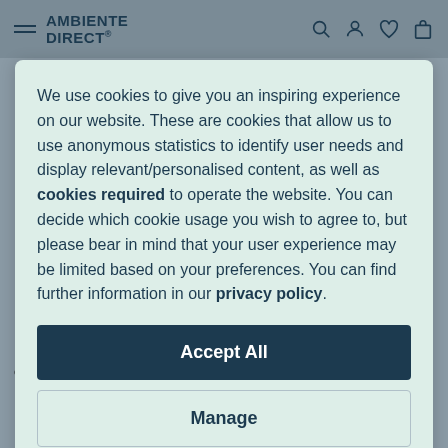AMBIENTE DIRECT®
We use cookies to give you an inspiring experience on our website. These are cookies that allow us to use anonymous statistics to identify user needs and display relevant/personalised content, as well as cookies required to operate the website. You can decide which cookie usage you wish to agree to, but please bear in mind that your user experience may be limited based on your preferences. You can find further information in our privacy policy.
Accept All
Manage
emu
Pigalle Garden Table Foldable Ø105cm
Normann Copenhagen
Krenit Bowl Ø 8.4cm